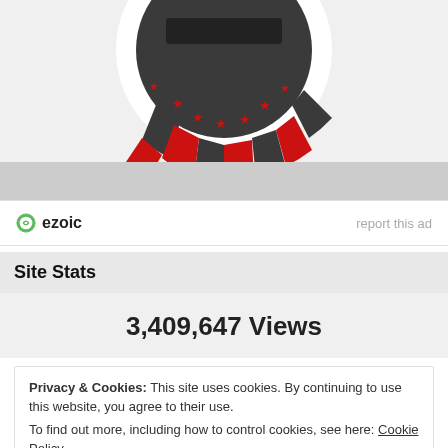[Figure (logo): Partial circular logo with red and dark gray/charcoal segments and red stars on a white ring, resembling a poker chip or badge design, cropped at the top]
[Figure (logo): Ezoic logo with green circular icon and bold 'ezoic' text, alongside 'report this ad' gray text link]
Site Stats
3,409,647 Views
Privacy & Cookies: This site uses cookies. By continuing to use this website, you agree to their use.
To find out more, including how to control cookies, see here: Cookie Policy